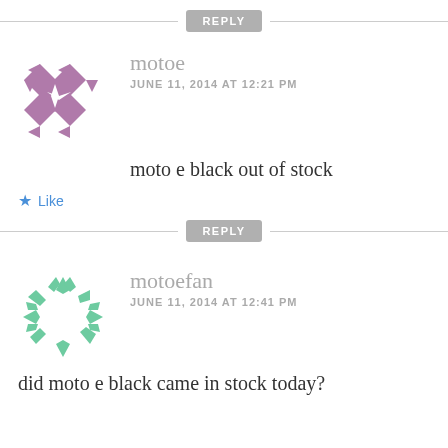[Figure (other): Reply button with horizontal lines on either side]
[Figure (illustration): Purple geometric diamond/star pattern avatar for user 'motoe']
motoe
JUNE 11, 2014 AT 12:21 PM
moto e black out of stock
Like
[Figure (other): Reply button with horizontal lines on either side]
[Figure (illustration): Green geometric wreath/circle pattern avatar for user 'motoefan']
motoefan
JUNE 11, 2014 AT 12:41 PM
did moto e black came in stock today?